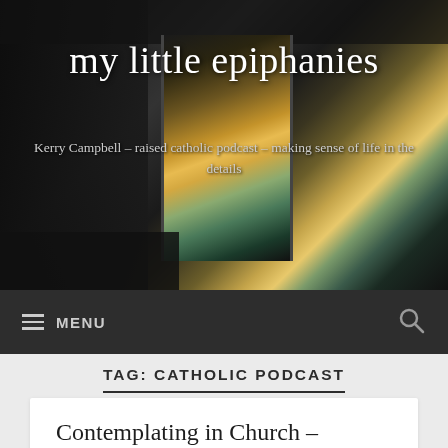my little epiphanies
Kerry Campbell – raised catholic podcast – making sense of life in the details
≡ MENU
TAG: CATHOLIC PODCAST
Contemplating in Church – Contemplative Summer